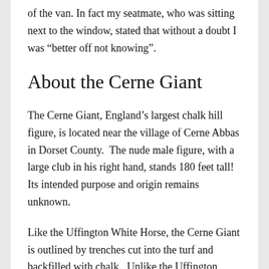of the van. In fact my seatmate, who was sitting next to the window, stated that without a doubt I was “better off not knowing”.
About the Cerne Giant
The Cerne Giant, England’s largest chalk hill figure, is located near the village of Cerne Abbas in Dorset County.  The nude male figure, with a large club in his right hand, stands 180 feet tall! Its intended purpose and origin remains unknown.
Like the Uffington White Horse, the Cerne Giant is outlined by trenches cut into the turf and backfilled with chalk.  Unlike the Uffington White Horse, which has been reliability dated and determined to be 3,000 years old, the age of the Cerne Giant chalk hill figure is an open question.